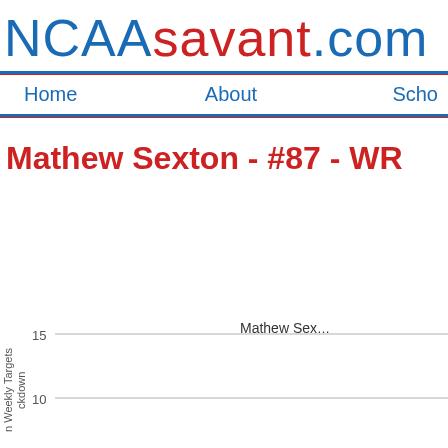NCAAsavant.com
Home   About   Scho
Mathew Sexton - #87 - WR
[Figure (line-chart): Partially visible line chart showing weekly targets breakdown for Mathew Sexton, with y-axis gridlines at 10 and 15]